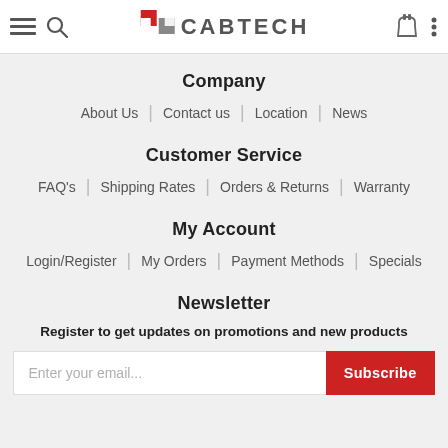CABTECH navigation header with menu, search, cart, and logo
Company
About Us | Contact us | Location | News
Customer Service
FAQ's | Shipping Rates | Orders & Returns | Warranty
My Account
Login/Register | My Orders | Payment Methods | Specials
Newsletter
Register to get updates on promotions and new products